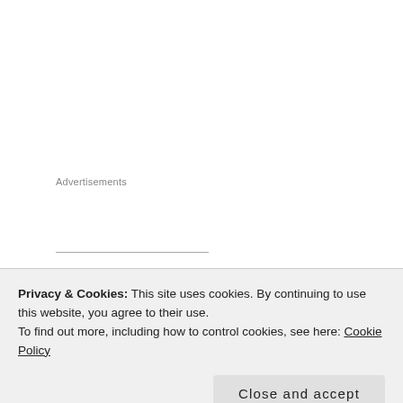Advertisements
Translations available: Russian
Sponsored Content
Privacy & Cookies: This site uses cookies. By continuing to use this website, you agree to their use.
To find out more, including how to control cookies, see here: Cookie Policy
Close and accept